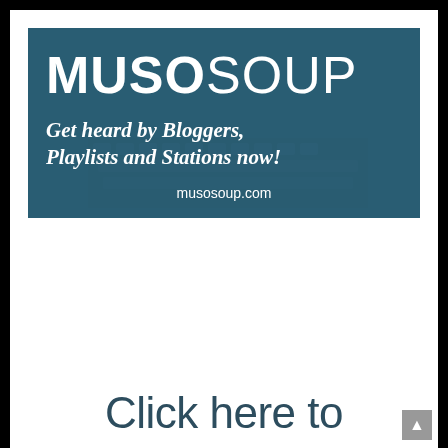[Figure (logo): MusoSoup advertisement banner with dark teal background, showing 'MUSOSOUP' logo, tagline 'Get heard by Bloggers, Playlists and Stations now!' and URL 'musosoup.com']
Click here to